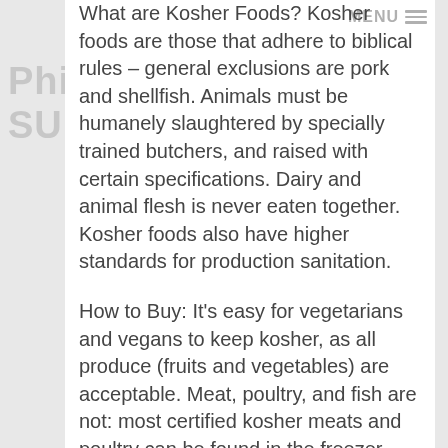What are Kosher Foods? Kosher foods are those that adhere to biblical rules – general exclusions are pork and shellfish. Animals must be humanely slaughtered by specially trained butchers, and raised with certain specifications. Dairy and animal flesh is never eaten together. Kosher foods also have higher standards for production sanitation.
How to Buy: It's easy for vegetarians and vegans to keep kosher, as all produce (fruits and vegetables) are acceptable. Meat, poultry, and fish are not: most certified kosher meats and poultry can be found in the freezer section, or at a specialty grocer.
How to Read the Label: Regulators provide manufacturers of certified kosher foods permission to use registered trademarks, following strict organization of food and label...